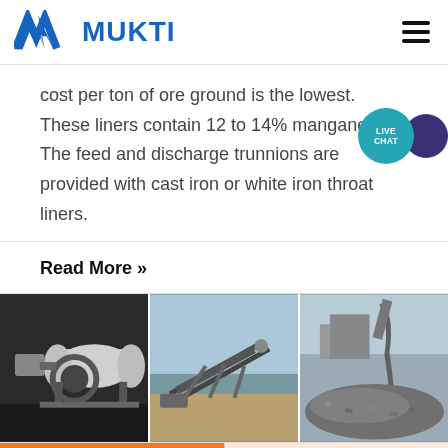[Figure (logo): Mukti company logo with blue triangular M icon and bold blue MUKTI text, hamburger menu icon on the right]
cost per ton of ore ground is the lowest. These liners contain 12 to 14% manganese. The feed and discharge trunnions are provided with cast iron or white iron throat liners.
Read More »
[Figure (photo): Three industrial mining/milling equipment photos: left shows a large ball mill in an industrial building, center shows a conveyor belt system at a quarry or mine site, right shows crushed stone or aggregate material being processed]
Get a Quote
WhatsApp